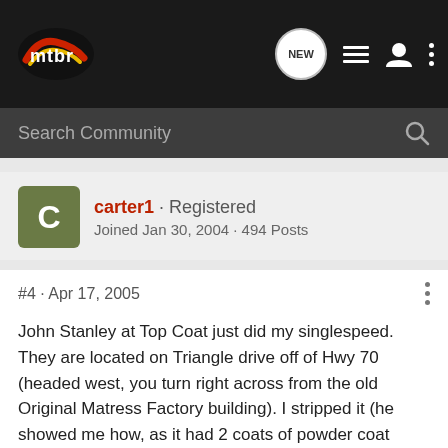mtbr — Search Community
carter1 · Registered
Joined Jan 30, 2004 · 494 Posts
#4 · Apr 17, 2005
John Stanley at Top Coat just did my singlespeed. They are located on Triangle drive off of Hwy 70 (headed west, you turn right across from the old Original Matress Factory building). I stripped it (he showed me how, as it had 2 coats of powder coat already) and he put 2 baked coats on it for me for a VERY reasonable price. Be sure to tell him that the guy with the Safety Orange SS sent you. His number is 787-0302. BTW-I dropped it off at 12:00 and picked it up at 5:00, with an appointment, of course.